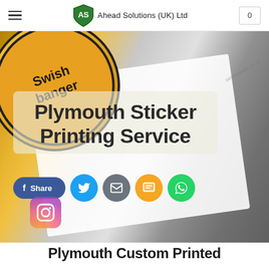Ahead Solutions (UK) Ltd
[Figure (photo): Hero banner showing printed stickers — a circular orange sticker with 'Swishbanger' branding on the left, a white paper/card sheet in the background, with watermark text 'swishbanger.co.uk' overlaid. Social sharing buttons (Facebook Share, Twitter, Email, SMS, WhatsApp) at the bottom of the banner.]
Plymouth Sticker Printing Service
Plymouth Custom Printed